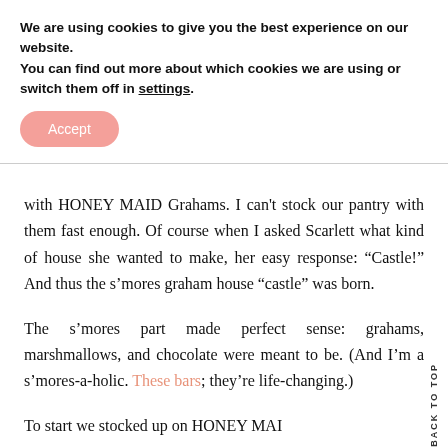We are using cookies to give you the best experience on our website.
You can find out more about which cookies we are using or switch them off in settings.
Accept
with HONEY MAID Grahams. I can't stock our pantry with them fast enough. Of course when I asked Scarlett what kind of house she wanted to make, her easy response: “Castle!” And thus the s’mores graham house “castle” was born.
The s’mores part made perfect sense: grahams, marshmallows, and chocolate were meant to be. (And I’m a s’mores-a-holic. These bars; they’re life-changing.)
To start we stocked up on HONEY MAI…